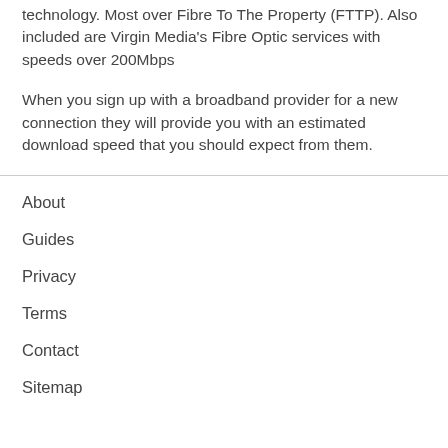technology. Most over Fibre To The Property (FTTP). Also included are Virgin Media's Fibre Optic services with speeds over 200Mbps
When you sign up with a broadband provider for a new connection they will provide you with an estimated download speed that you should expect from them.
About
Guides
Privacy
Terms
Contact
Sitemap